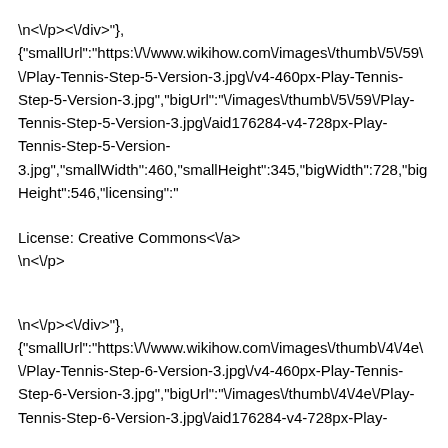\n<\/p><\/div>
{"smallUrl":"https:\/\/www.wikihow.com\/images\/thumb\/5\/59\//Play-Tennis-Step-5-Version-3.jpg\/v4-460px-Play-Tennis-Step-5-Version-3.jpg","bigUrl":"\/images\/thumb\/5\/59\/Play-Tennis-Step-5-Version-3.jpg\/aid176284-v4-728px-Play-Tennis-Step-5-Version-3.jpg","smallWidth":460,"smallHeight":345,"bigWidth":728,"bigHeight":546,"licensing":"
License: Creative Commons<\/a>
\n<\/p>
\n<\/p><\/div>
{"smallUrl":"https:\/\/www.wikihow.com\/images\/thumb\/4\/4e\//Play-Tennis-Step-6-Version-3.jpg\/v4-460px-Play-Tennis-Step-6-Version-3.jpg","bigUrl":"\/images\/thumb\/4\/4e\/Play-Tennis-Step-6-Version-3.jpg\/aid176284-v4-728px-Play-